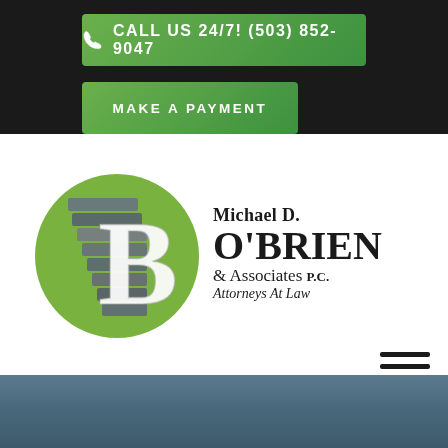[Figure (other): Green button with phone icon: CALL US 24/7! (503) 852-9047]
[Figure (other): Green button: MAKE A PAYMENT]
[Figure (logo): Michael D. O'Brien & Associates P.C. Attorneys At Law law firm logo with stylized 'B' letter mark on green circular background]
[Figure (other): Hamburger menu icon (three horizontal lines)]
[Figure (other): Blue-grey bottom section/footer area]